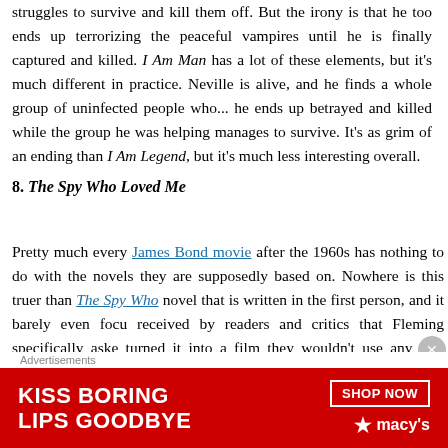struggles to survive and kill them off. But the irony is that he too ends up terrorizing the peaceful vampires until he is finally captured and killed. I Am Man has a lot of these elements, but it's much different in practice. Neville is alive, and he finds a whole group of uninfected people who... he ends up betrayed and killed while the group he was helping manages to survive. It's as grim of an ending than I Am Legend, but it's much less interesting overall.
8. The Spy Who Loved Me
Pretty much every James Bond movie after the 1960s has nothing to do with the novels they are supposedly based on. Nowhere is this truer than The Spy Who Loved Me, which is a novel that is written in the first person, and it barely even focuses on Bond. It was so poorly received by readers and critics that Fleming specifically asked that if anyone ever turned it into a film they wouldn't use any plot elements from the novel. The Spy Who Loved Me is a completely original story about a megalomaniac who wants to destroy the world (okay, so maybe it's not completely original), and it...
[Figure (photo): Macy's advertisement banner: 'Kiss Boring Lips Goodbye' with a woman's face and red lips, Shop Now button, and Macy's star logo on red background]
Advertisements